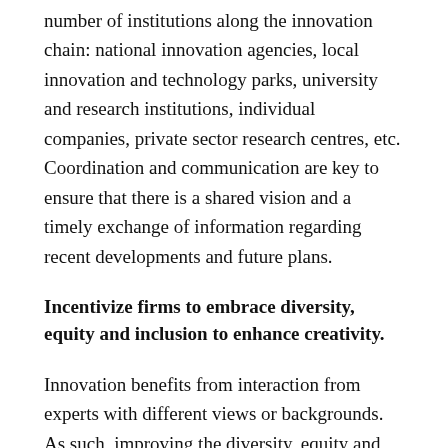number of institutions along the innovation chain: national innovation agencies, local innovation and technology parks, university and research institutions, individual companies, private sector research centres, etc. Coordination and communication are key to ensure that there is a shared vision and a timely exchange of information regarding recent developments and future plans.
Incentivize firms to embrace diversity, equity and inclusion to enhance creativity.
Innovation benefits from interaction from experts with different views or backgrounds. As such, improving the diversity, equity and inclusion across the entire innovation chain will be fundamental to broadening the pool of potential talent, improving the capacity of new solutions to reflect the needs